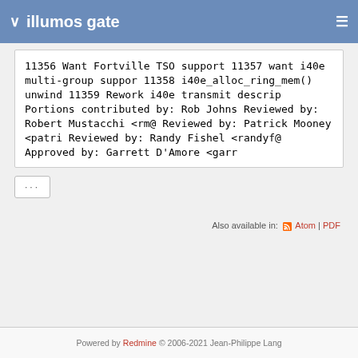illumos gate
11356 Want Fortville TSO support
11357 want i40e multi-group suppor
11358 i40e_alloc_ring_mem() unwind
11359 Rework i40e transmit descrip
Portions contributed by: Rob Johns
Reviewed by: Robert Mustacchi <rm@
Reviewed by: Patrick Mooney <patri
Reviewed by: Randy Fishel <randyf@
Approved by: Garrett D'Amore <garr
...
Also available in: Atom | PDF
Powered by Redmine © 2006-2021 Jean-Philippe Lang